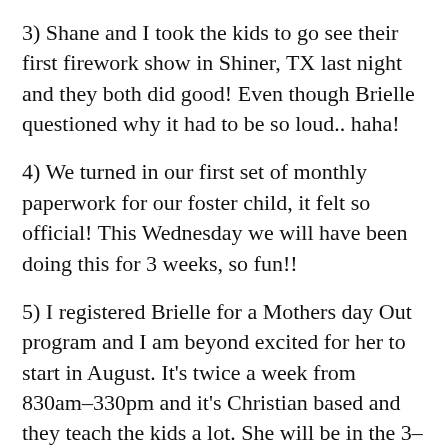3) Shane and I took the kids to go see their first firework show in Shiner, TX last night and they both did good! Even though Brielle questioned why it had to be so loud.. haha!
4) We turned in our first set of monthly paperwork for our foster child, it felt so official! This Wednesday we will have been doing this for 3 weeks, so fun!!
5) I registered Brielle for a Mothers day Out program and I am beyond excited for her to start in August. It's twice a week from 830am–330pm and it's Christian based and they teach the kids a lot. She will be in the 3–4 year old age group and I am so excited for her to join! Yay